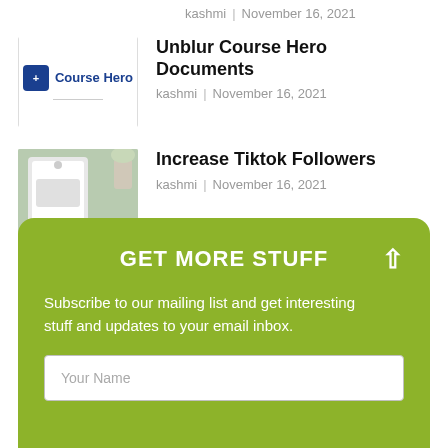kashmi  |  November 16, 2021
Unblur Course Hero Documents
kashmi  |  November 16, 2021
[Figure (logo): Course Hero logo with blue shield icon and brand name]
Increase Tiktok Followers
kashmi  |  November 16, 2021
[Figure (photo): Tablet/phone with TikTok followers image, plant in background, with label INCREASE TIKTOK FOLLOWERS]
GET MORE STUFF
Subscribe to our mailing list and get interesting stuff and updates to your email inbox.
Your Name